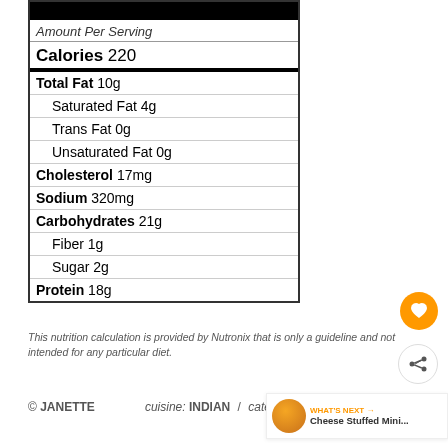| Nutrient | Amount |
| --- | --- |
| Amount Per Serving |  |
| Calories | 220 |
| Total Fat | 10g |
| Saturated Fat | 4g |
| Trans Fat | 0g |
| Unsaturated Fat | 0g |
| Cholesterol | 17mg |
| Sodium | 320mg |
| Carbohydrates | 21g |
| Fiber | 1g |
| Sugar | 2g |
| Protein | 18g |
This nutrition calculation is provided by Nutronix that is only a guideline and not intended for any particular diet.
© JANETTE   cuisine: INDIAN / category: